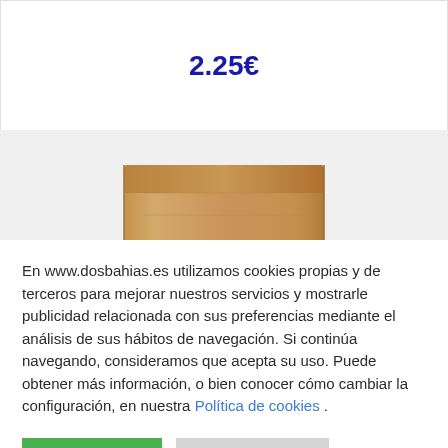2.25€
[Figure (photo): A brown kraft paper bag/pouch with a green label reading NATUR]
En www.dosbahias.es utilizamos cookies propias y de terceros para mejorar nuestros servicios y mostrarle publicidad relacionada con sus preferencias mediante el análisis de sus hábitos de navegación. Si continúa navegando, consideramos que acepta su uso. Puede obtener más información, o bien conocer cómo cambiar la configuración, en nuestra Política de cookies .
ACEPTAR
RECHAZAR